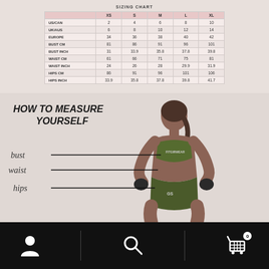SIZING CHART
|  | XS | S | M | L | XL |
| --- | --- | --- | --- | --- | --- |
| US/CAN | 2 | 4 | 6 | 8 | 10 |
| UK/AUS | 6 | 8 | 10 | 12 | 14 |
| EUROPE | 34 | 36 | 38 | 40 | 42 |
| BUST CM | 81 | 86 | 91 | 96 | 101 |
| BUST INCH | 31 | 33.9 | 35.8 | 37.8 | 39.8 |
| WAIST CM | 61 | 66 | 71 | 75 | 81 |
| WAIST INCH | 24 | 26 | 28 | 29.9 | 31.9 |
| HIPS CM | 86 | 91 | 96 | 101 | 106 |
| HIPS INCH | 33.9 | 35.8 | 37.8 | 39.8 | 41.7 |
[Figure (illustration): HOW TO MEASURE YOURSELF diagram with a female athlete in camo sportswear, with horizontal lines pointing from labels 'bust', 'waist', and 'hips' to corresponding body measurement locations.]
Navigation bar with person icon, search icon, and shopping cart icon with badge '0'